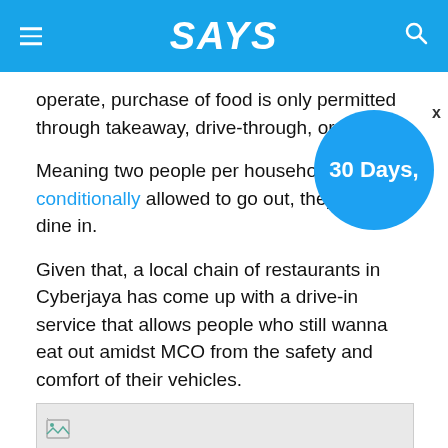SAYS
operate, purchase of food is only permitted through takeaway, drive-through, or delivery.
Meaning two people per household are conditionally allowed to go out, they cannot dine in.
Given that, a local chain of restaurants in Cyberjaya has come up with a drive-in service that allows people who still wanna eat out amidst MCO from the safety and comfort of their vehicles.
[Figure (photo): Image placeholder with broken image icon on grey background]
Image via Padi House Malaysia (Facebook)
This drive-in service is being offered at the parking lot of Padi House restaurant, where people sit inside their cars and servers wearing